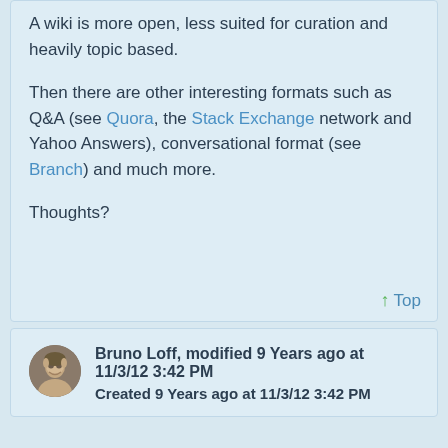A wiki is more open, less suited for curation and heavily topic based.
Then there are other interesting formats such as Q&A (see Quora, the Stack Exchange network and Yahoo Answers), conversational format (see Branch) and much more.
Thoughts?
↑ Top
Bruno Loff, modified 9 Years ago at 11/3/12 3:42 PM
Created 9 Years ago at 11/3/12 3:42 PM